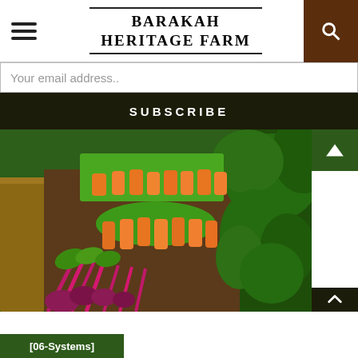BARAKAH HERITAGE FARM
Your email address..
SUBSCRIBE
[Figure (photo): Farm photo showing rows of harvested carrots with green tops and beetroot with magenta stems laid out in raised garden beds, surrounded by lush green foliage]
[06-Systems]